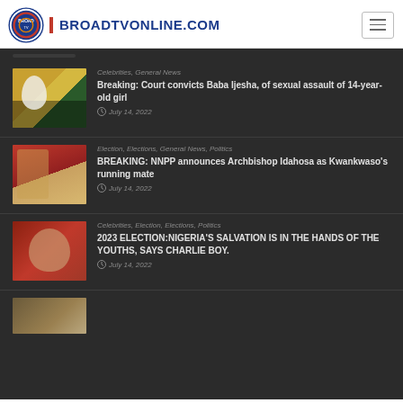BROADTVONLINE.COM
Celebrities, General News
Breaking: Court convicts Baba Ijesha, of sexual assault of 14-year-old girl
July 14, 2022
Election, Elections, General News, Politics
BREAKING: NNPP announces Archbishop Idahosa as Kwankwaso's running mate
July 14, 2022
Celebrities, Election, Elections, Politics
2023 ELECTION:NIGERIA'S SALVATION IS IN THE HANDS OF THE YOUTHS, SAYS CHARLIE BOY.
July 14, 2022